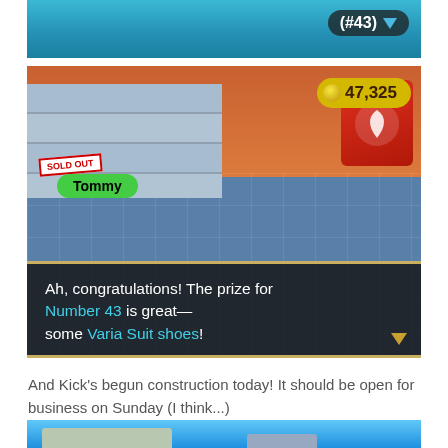[Figure (screenshot): Partial Animal Crossing game screenshot showing top HUD with (#43) badge and blue background]
[Figure (screenshot): Animal Crossing: New Leaf game screenshot showing Tommy the Nook character in a shop with dialog: 'Ah, congratulations! The prize for Number 43 is great— some Varia Suit shoes!' Coin count shows 47,325]
And Kick's begun construction today! It should be open for business on Sunday (I think...)
[Figure (screenshot): Partial Animal Crossing game screenshot showing a building exterior with blue sky background]